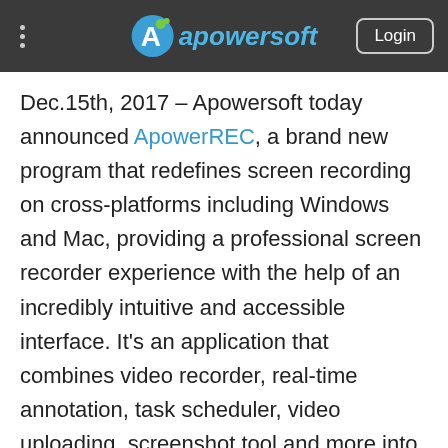Apowersoft – Login
Dec.15th, 2017 – Apowersoft today announced ApowerREC, a brand new program that redefines screen recording on cross-platforms including Windows and Mac, providing a professional screen recorder experience with the help of an incredibly intuitive and accessible interface. It's an application that combines video recorder, real-time annotation, task scheduler, video uploading, screenshot tool and more into one comprehensive program. You can get the program installed from below and check its highlighted features in the following section of this article.